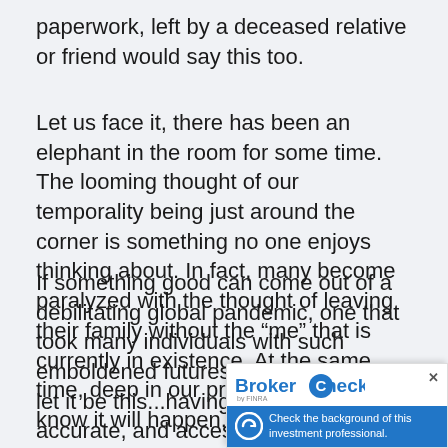paperwork, left by a deceased relative or friend would say this too.
Let us face it, there has been an elephant in the room for some time. The looming thought of our temporality being just around the corner is something no one enjoys thinking about. In fact, many become paralyzed with the thought of leaving their family without the “me” that is currently in existence. At the same time, deep in our prefrontal cortex, we know it will happen.
If something good can come out of a debilitating global pandemic, one that took many individuals with such emboldened futures ahead of them, let it be this...having an organized, accurate, and accessible plan in place for those you lo… leave behind can be a blessing. There, I s…
[Figure (other): BrokerCheck by FINRA widget overlay in bottom-right corner with blue background, showing 'Check the background of this investment professional.' text and a circular arrow icon.]